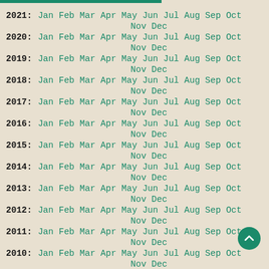2021: Jan Feb Mar Apr May Jun Jul Aug Sep Oct Nov Dec
2020: Jan Feb Mar Apr May Jun Jul Aug Sep Oct Nov Dec
2019: Jan Feb Mar Apr May Jun Jul Aug Sep Oct Nov Dec
2018: Jan Feb Mar Apr May Jun Jul Aug Sep Oct Nov Dec
2017: Jan Feb Mar Apr May Jun Jul Aug Sep Oct Nov Dec
2016: Jan Feb Mar Apr May Jun Jul Aug Sep Oct Nov Dec
2015: Jan Feb Mar Apr May Jun Jul Aug Sep Oct Nov Dec
2014: Jan Feb Mar Apr May Jun Jul Aug Sep Oct Nov Dec
2013: Jan Feb Mar Apr May Jun Jul Aug Sep Oct Nov Dec
2012: Jan Feb Mar Apr May Jun Jul Aug Sep Oct Nov Dec
2011: Jan Feb Mar Apr May Jun Jul Aug Sep Oct Nov Dec
2010: Jan Feb Mar Apr May Jun Jul Aug Sep Oct Nov Dec